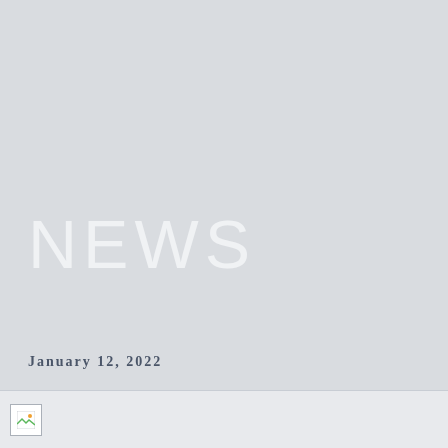NEWS
January 12, 2022
[Figure (photo): Partially loaded image thumbnail at the bottom of the page]